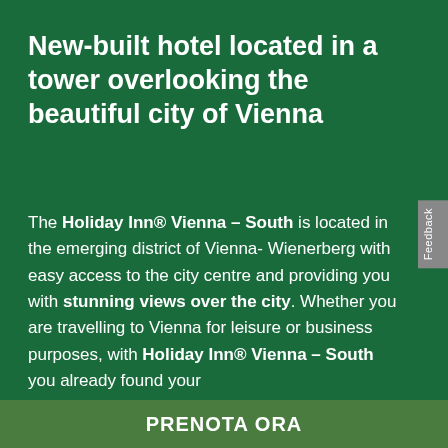New-built hotel located in a tower overlooking the beautiful city of Vienna
The Holiday Inn® Vienna – South is located in the emerging district of Vienna- Wienerberg with easy access to the city centre and providing you with stunning views over the city. Whether you are travelling to Vienna for leisure or business purposes, with Holiday Inn® Vienna – South you already found your
PRENOTA ORA